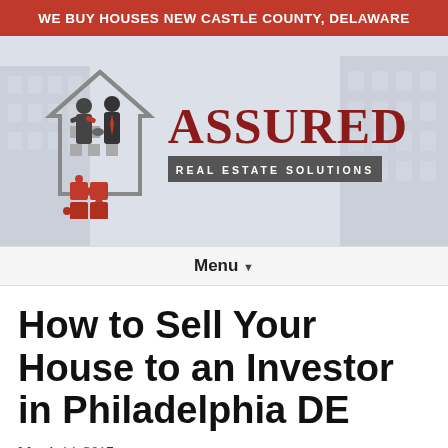WE BUY HOUSES NEW CASTLE COUNTY, DELAWARE
[Figure (logo): Assured Real Estate Solutions logo: two businessmen shaking hands inside a house outline with red puzzle piece at bottom, next to red serif text 'ASSURED' and grey box 'REAL ESTATE SOLUTIONS', set against a faded building background]
Menu ▾
How to Sell Your House to an Investor in Philadelphia DE
March 14, 2017